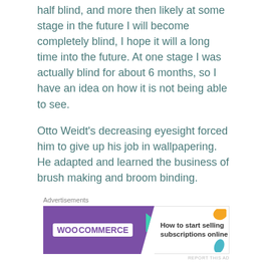half blind, and more then likely at some stage in the future I will become completely blind, I hope it will a long time into the future. At one stage I was actually blind for about 6 months, so I have an idea on how it is not being able to see.
Otto Weidt's decreasing eyesight forced him to give up his job in wallpapering. He adapted and learned the business of brush making and broom binding.
[Figure (other): WooCommerce advertisement banner: purple left section with WooCommerce logo, right section with text 'How to start selling subscriptions online' and decorative colored shapes.]
Otto Weidt and Else Nast met in Berlin in 1931 and married five years later, on September 22, 1936. This was Otto Weidt's third marriage; he had two sons from his first marriage.